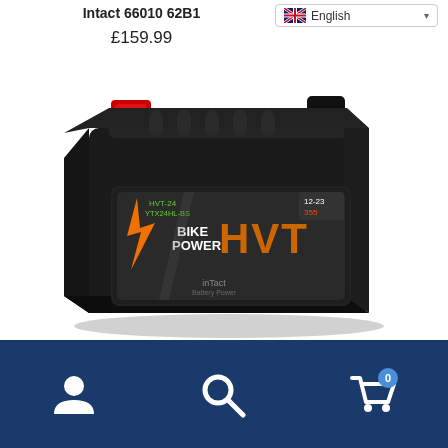Intact 66010 62B1
£159.99
[Figure (photo): Intact Bike Power HVT motorcycle battery, black rectangular battery with red positive terminal cover and orange/grey HVT label on front face, model HVT-24, 12V 23Ah 355A]
Navigation footer with user account icon, search icon, and cart icon with badge showing 0